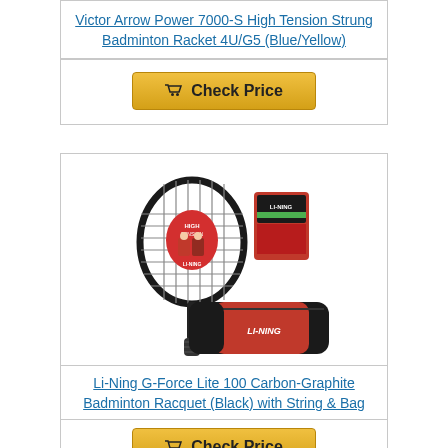Victor Arrow Power 7000-S High Tension Strung Badminton Racket 4U/G5 (Blue/Yellow)
[Figure (other): Check Price button with shopping cart icon, gold/yellow background]
[Figure (photo): Li-Ning G-Force Lite 100 badminton racquet (black) shown with string packet and racquet bag]
Li-Ning G-Force Lite 100 Carbon-Graphite Badminton Racquet (Black) with String & Bag
[Figure (other): Check Price button with shopping cart icon, gold/yellow background (partially visible)]